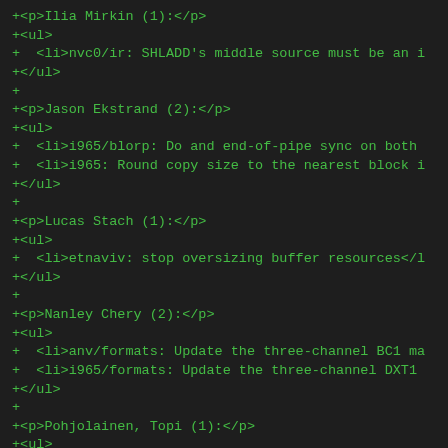+<p>Ilia Mirkin (1):</p>
+<ul>
+  <li>nvc0/ir: SHLADD's middle source must be an i
+</ul>
+
+<p>Jason Ekstrand (2):</p>
+<ul>
+  <li>i965/blorp: Do and end-of-pipe sync on both
+  <li>i965: Round copy size to the nearest block i
+</ul>
+
+<p>Lucas Stach (1):</p>
+<ul>
+  <li>etnaviv: stop oversizing buffer resources</l
+</ul>
+
+<p>Nanley Chery (2):</p>
+<ul>
+  <li>anv/formats: Update the three-channel BC1 ma
+  <li>i965/formats: Update the three-channel DXT1
+</ul>
+
+<p>Pohjolainen, Topi (1):</p>
+<ul>
+  <li>intel/isl/gen7: Use stencil vertical alignme
+</ul>
+
+<p>Samuel Iglesias Gonsálvez (3):</p>
+<ul>
+  <li>i965/vec4/gs: restore the uniform values whi